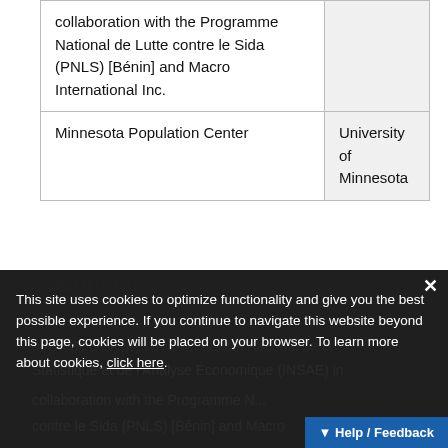| collaboration with the Programme National de Lutte contre le Sida (PNLS) [Bénin] and Macro International Inc. |  |
| Minnesota Population Center | University of Minnesota |
Sampling
This site uses cookies to optimize functionality and give you the best possible experience. If you continue to navigate this website beyond this page, cookies will be placed on your browser. To learn more about cookies, click here.
MICROCOURSES INSAE: Institut National de la Statistique et de l'Analyse Économique (INSAE) in collaboration with the Programme N... contre le Sida (PNLS) [Bénin] and Macro...